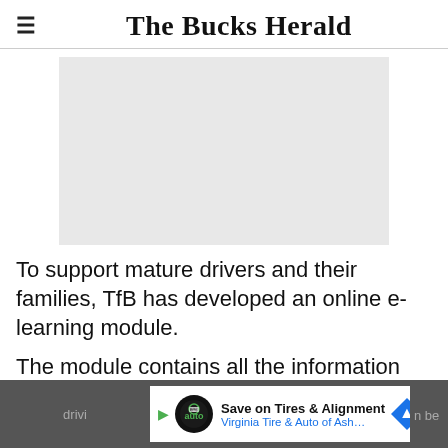The Bucks Herald
[Figure (photo): Large grey placeholder/advertisement image area]
To support mature drivers and their families, TfB has developed an online e-learning module.
The module contains all the information you need... driving... n be
[Figure (infographic): Bottom advertisement banner: Save on Tires & Alignment - Virginia Tire & Auto of Ashburn Fa...]